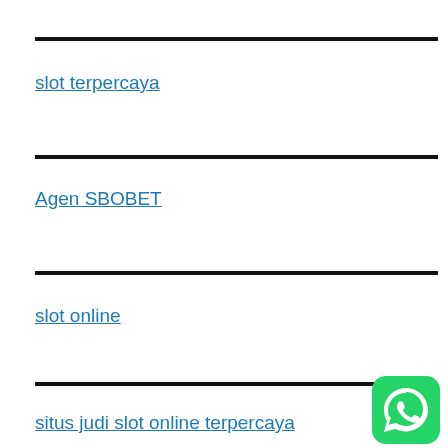slot terpercaya
Agen SBOBET
slot online
situs judi slot online terpercaya
[Figure (logo): WhatsApp logo icon, green rounded square with white phone handset]